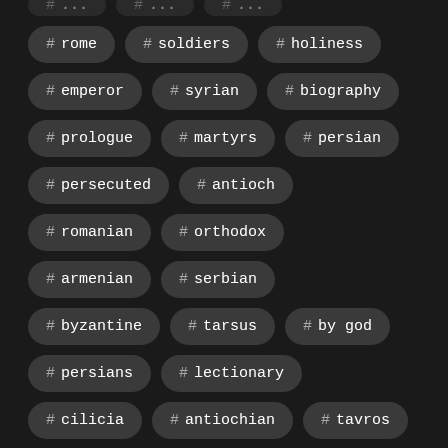# rome
# soldiers
# holiness
# emperor
# syrian
# biography
# prologue
# martyrs
# persian
# persecuted
# antioch
# romanian
# orthodox
# armenian
# serbian
# byzantine
# tarsus
# by god
# persians
# lectionary
# cilicia
# antiochian
# tavros